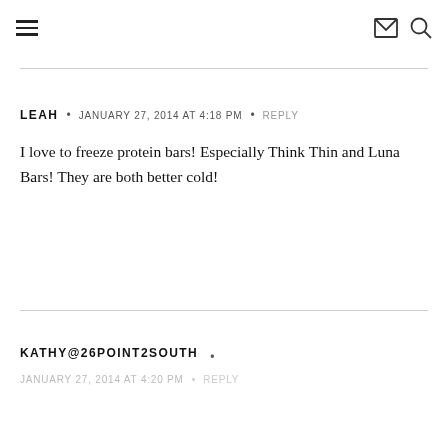≡  ✉ 🔍
LEAH  •  JANUARY 27, 2014 AT 4:18 PM  •  REPLY

I love to freeze protein bars! Especially Think Thin and Luna Bars! They are both better cold!
KATHY@26POINT2SOUTH  •
JANUARY 27, 2014 AT 4:20 PM  •  REPLY